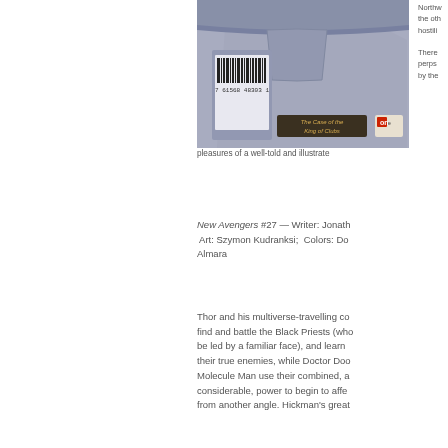[Figure (illustration): Comic book cover image showing 'The Case of the King of Clubs' with a barcode and publisher logo]
Northw the oth hostili There perps by the pleasures of a well-told and illustrate
New Avengers #27 — Writer: Jonath Art: Szymon Kudranksi; Colors: Do Almara
Thor and his multiverse-travelling co find and battle the Black Priests (who be led by a familiar face), and learn their true enemies, while Doctor Doo Molecule Man use their combined, a considerable, power to begin to affe from another angle. Hickman's great